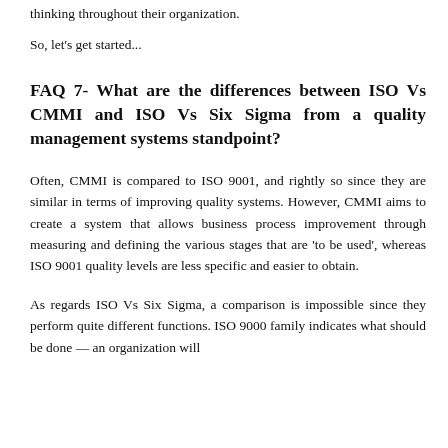thinking throughout their organization.
So, let's get started...
FAQ 7- What are the differences between ISO Vs CMMI and ISO Vs Six Sigma from a quality management systems standpoint?
Often, CMMI is compared to ISO 9001, and rightly so since they are similar in terms of improving quality systems. However, CMMI aims to create a system that allows business process improvement through measuring and defining the various stages that are 'to be used', whereas ISO 9001 quality levels are less specific and easier to obtain.
As regards ISO Vs Six Sigma, a comparison is impossible since they perform quite different functions. ISO 9000 family indicates what should be done — an organization will